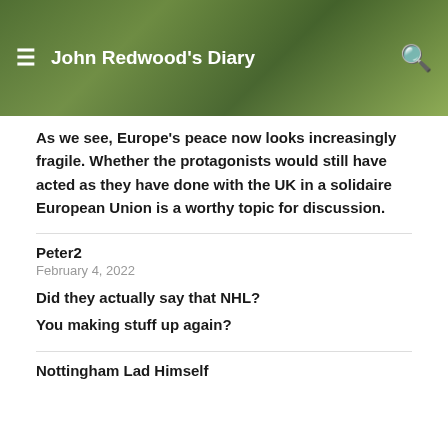John Redwood's Diary
As we see, Europe's peace now looks increasingly fragile. Whether the protagonists would still have acted as they have done with the UK in a solidaire European Union is a worthy topic for discussion.
Peter2
February 4, 2022
Did they actually say that NHL?
You making stuff up again?
Nottingham Lad Himself